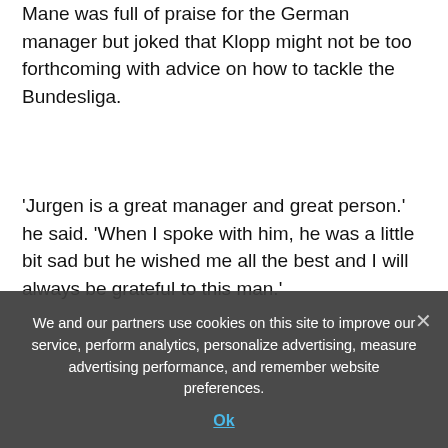Mane was full of praise for the German manager but joked that Klopp might not be too forthcoming with advice on how to tackle the Bundesliga.
'Jurgen is a great manager and great person.' he said. 'When I spoke with him, he was a little bit sad but he wished me all the best and I will always be grateful to this man.'
'I've worked with him for six years but I don't think he will be happy to advise me,' he joked.
'He's an incredible person and I have a very, very good relationship with him. But I've been watching the
We and our partners use cookies on this site to improve our service, perform analytics, personalize advertising, measure advertising performance, and remember website preferences.
Ok